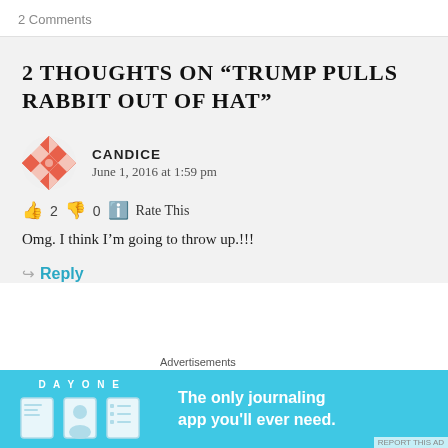2 Comments
2 THOUGHTS ON “TRUMP PULLS RABBIT OUT OF HAT”
CANDICE
June 1, 2016 at 1:59 pm
👍 2 👎 0 ℹ Rate This
Omg.  I think I’m going to throw up.!!!
↪ Reply
Advertisements
[Figure (screenshot): Day One journaling app advertisement banner: light blue background with DAY ONE logo, three app icons (notebook, person, list), and text 'The only journaling app you'll ever need.']